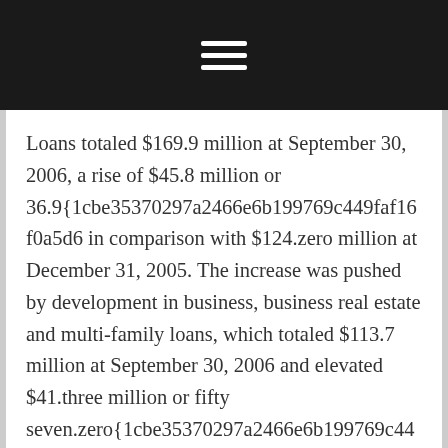[navigation bar with hamburger menu icon]
Loans totaled $169.9 million at September 30, 2006, a rise of $45.8 million or 36.9{1cbe35370297a2466e6b199769c449faf16f0a5d6... in comparison with $124.zero million at December 31, 2005. The increase was pushed by development in business, business real estate and multi-family loans, which totaled $113.7 million at September 30, 2006 and elevated $41.three million or fifty seven.zero{1cbe35370297a2466e6b199769c449faf16... compared to $72.four million at December 31, 2005. Shopper loans totaled $31.4 million at September 30, 2006 and